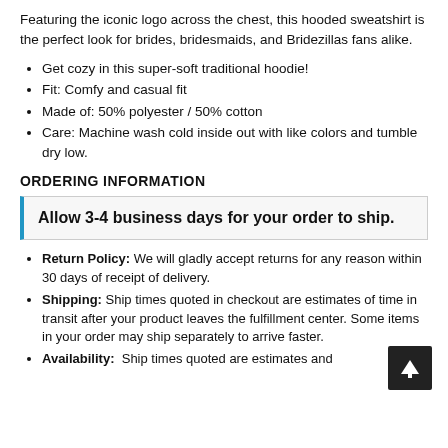Featuring the iconic logo across the chest, this hooded sweatshirt is the perfect look for brides, bridesmaids, and Bridezillas fans alike.
Get cozy in this super-soft traditional hoodie!
Fit: Comfy and casual fit
Made of: 50% polyester / 50% cotton
Care: Machine wash cold inside out with like colors and tumble dry low.
ORDERING INFORMATION
Allow 3-4 business days for your order to ship.
Return Policy: We will gladly accept returns for any reason within 30 days of receipt of delivery.
Shipping: Ship times quoted in checkout are estimates of time in transit after your product leaves the fulfillment center. Some items in your order may ship separately to arrive faster.